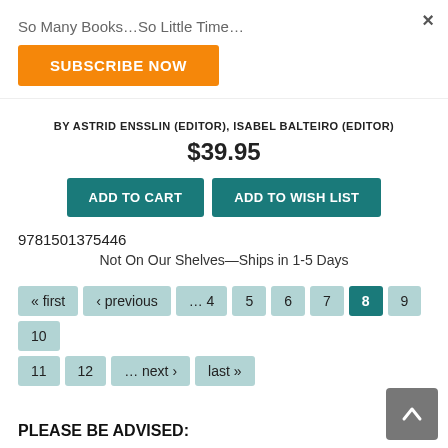So Many Books…So Little Time…
SUBSCRIBE NOW
BY ASTRID ENSSLIN (EDITOR), ISABEL BALTEIRO (EDITOR)
$39.95
ADD TO CART
ADD TO WISH LIST
9781501375446
Not On Our Shelves—Ships in 1-5 Days
« first ‹ previous … 4 5 6 7 8 9 10 11 12 … next › last »
PLEASE BE ADVISED: